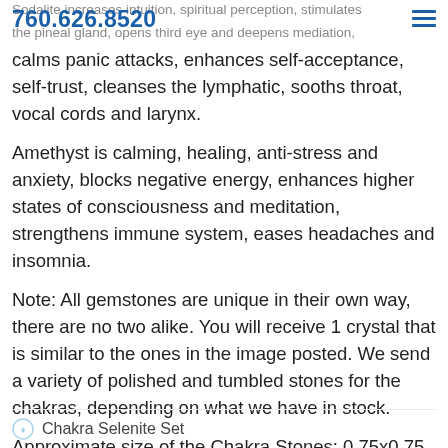760.626.8520  Sodalite increases intuition, spiritual perception, stimulates the pineal gland, opens third eye and deepens mediation,
calms panic attacks, enhances self-acceptance, self-trust, cleanses the lymphatic, sooths throat, vocal cords and larynx.
Amethyst is calming, healing, anti-stress and anxiety, blocks negative energy, enhances higher states of consciousness and meditation, strengthens immune system, eases headaches and insomnia.
Note: All gemstones are unique in their own way, there are no two alike. You will receive 1 crystal that is similar to the ones in the image posted. We send a variety of polished and tumbled stones for the chakras, depending on what we have in stock.
Approximate size of the Chakra Stones: 0.75x0.75 inches.
Approximate size of the Selenite Slice: 8x1.5 inches.
Chakra Selenite Set